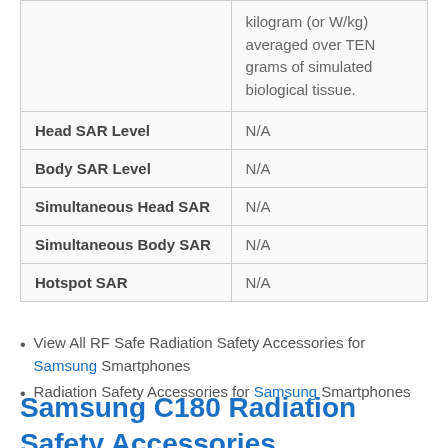|  | kilogram (or W/kg) averaged over TEN grams of simulated biological tissue. |
| Head SAR Level | N/A |
| Body SAR Level | N/A |
| Simultaneous Head SAR | N/A |
| Simultaneous Body SAR | N/A |
| Hotspot SAR | N/A |
View All RF Safe Radiation Safety Accessories for Samsung Smartphones
Radiation Safety Accessories for Samsung Smartphones
Samsung C180 Radiation Safety Accessories